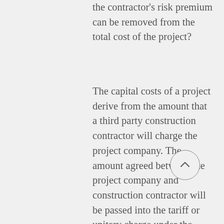the contractor's risk premium can be removed from the total cost of the project?
The capital costs of a project derive from the amount that a third party construction contractor will charge the project company. The amount agreed between the project company and construction contractor will be passed into the tariff or unitary charge under the concession agreement on an amortized basis. The contract price of the construction contract will very much depend on the amount of risk the construction contractor assumes under the construction contract. The greater the risk, the higher the